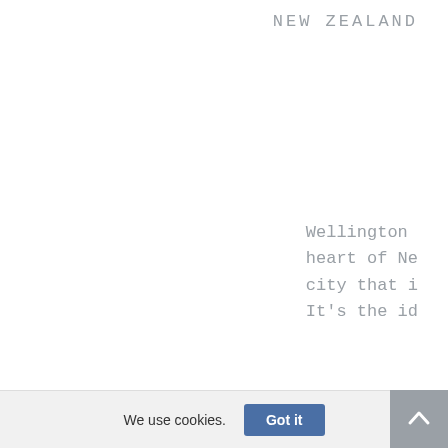NEW ZEALAND
Wellington
heart of Ne
city that i
It's the id
We use cookies.
Got it